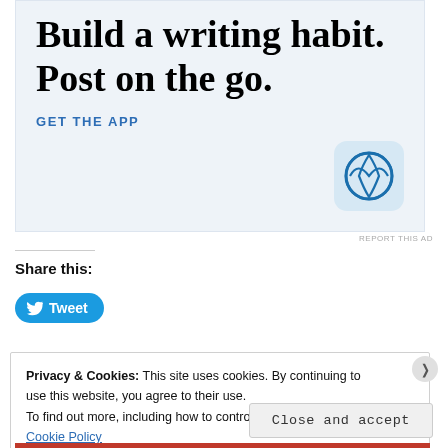[Figure (screenshot): WordPress app advertisement banner with large serif text 'Build a writing habit. Post on the go.' with 'GET THE APP' link and WordPress logo icon]
REPORT THIS AD
Share this:
[Figure (other): Tweet button with Twitter bird icon]
Privacy & Cookies: This site uses cookies. By continuing to use this website, you agree to their use.
To find out more, including how to control cookies, see here: Cookie Policy
Close and accept